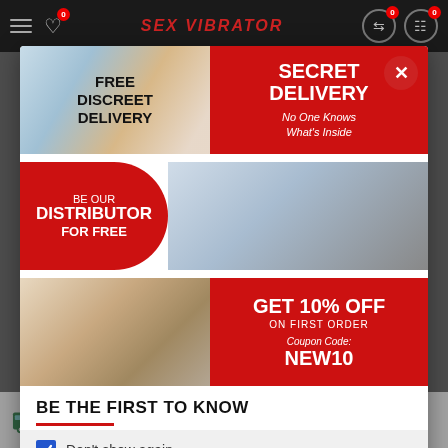Sex Vibrator — navigation bar with menu, heart icon (0), site title SEX VIBRATOR, exchange icon (0), cart (0)
[Figure (screenshot): Banner 1: Free Discreet Delivery — photo of box being handed over, red panel: SECRET DELIVERY — No One Knows What's Inside]
[Figure (screenshot): Banner 2: BE OUR DISTRIBUTOR FOR FREE — red pill on left, photo of two people fist bumping on right]
[Figure (screenshot): Banner 3: GET 10% OFF ON FIRST ORDER — Coupon Code: NEW10 — photo of couple on left, red panel on right]
BE THE FIRST TO KNOW
Don't show again.
24 HOUR'S EXPRESS&INTERNATIONAL SHIPPING AVAILABLE